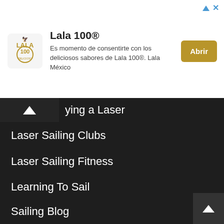[Figure (other): Lala 100 advertisement banner with logo, text and Abrir button]
...ying a Laser
Laser Sailing Clubs
Laser Sailing Fitness
Learning To Sail
Sailing Blog
Search
RECENT POSTS